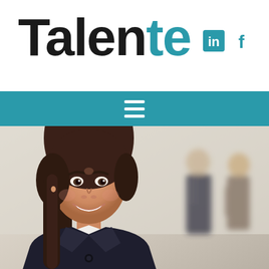Talente
[Figure (logo): LinkedIn and Facebook social media icons in teal color]
[Figure (illustration): Navigation menu hamburger icon (three horizontal lines) in white on teal background bar]
[Figure (photo): Professional woman smiling in foreground wearing dark jacket with white collar shirt, two blurred business people talking in background, office setting]